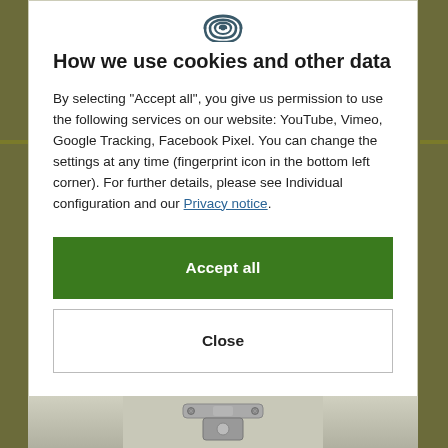[Figure (illustration): Fingerprint icon at the top center of the cookie consent modal]
How we use cookies and other data
By selecting "Accept all", you give us permission to use the following services on our website: YouTube, Vimeo, Google Tracking, Facebook Pixel. You can change the settings at any time (fingerprint icon in the bottom left corner). For further details, please see Individual configuration and our Privacy notice.
Accept all
Close
Configuration
[Figure (photo): Partial photo of mechanical hardware/lock components visible at the bottom of the page]